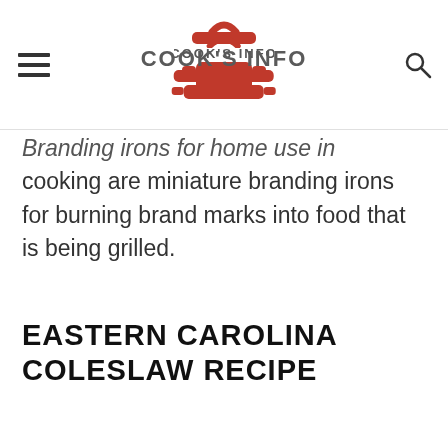COOK'S INFO
Branding irons for home use in cooking are miniature branding irons for burning brand marks into food that is being grilled.
EASTERN CAROLINA COLESLAW RECIPE